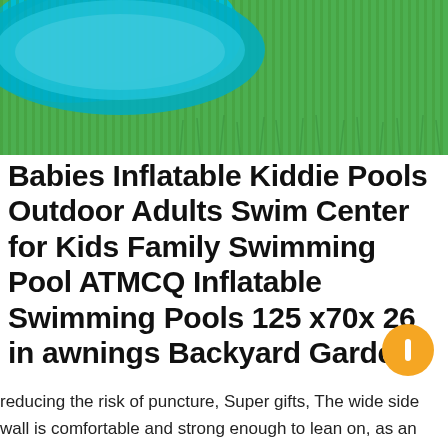[Figure (photo): Partial top view of a teal/cyan inflatable kiddie pool on green grass background]
Babies Inflatable Kiddie Pools Outdoor Adults Swim Center for Kids Family Swimming Pool ATMCQ Inflatable Swimming Pools 125 x70x 26 in awnings Backyard Garden
reducing the risk of puncture, Super gifts, The wide side wall is comfortable and strong enough to lean on, as an